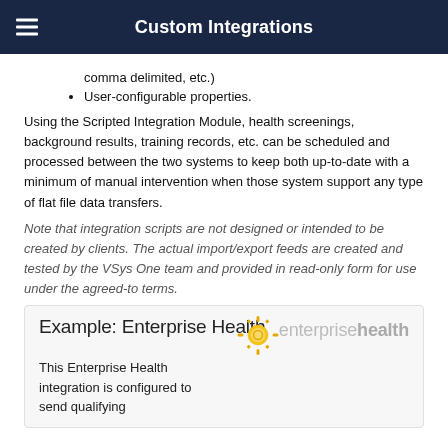Custom Integrations
comma delimited, etc.)
User-configurable properties.
Using the Scripted Integration Module, health screenings, background results, training records, etc. can be scheduled and processed between the two systems to keep both up-to-date with a minimum of manual intervention when those system support any type of flat file data transfers.
Note that integration scripts are not designed or intended to be created by clients. The actual import/export feeds are created and tested by the VSys One team and provided in read-only form for use under the agreed-to terms.
Example: Enterprise Health
This Enterprise Health integration is configured to send qualifying